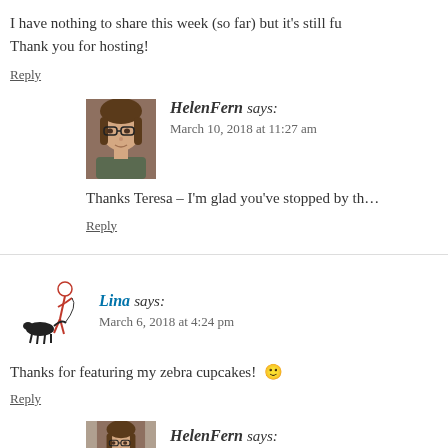I have nothing to share this week (so far) but it's still fu… Thank you for hosting!
Reply
HelenFern says: March 10, 2018 at 11:27 am
Thanks Teresa – I'm glad you've stopped by th…
Reply
Lina says: March 6, 2018 at 4:24 pm
Thanks for featuring my zebra cupcakes! 🙂
Reply
HelenFern says: